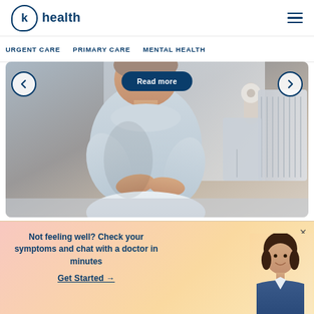k health
URGENT CARE  PRIMARY CARE  MENTAL HEALTH
[Figure (photo): Person sitting holding their abdomen/stomach area in pain, in a bathroom setting. A 'Read more' button overlay and left/right carousel navigation arrows are visible.]
Not feeling well? Check your symptoms and chat with a doctor in minutes
Get Started →